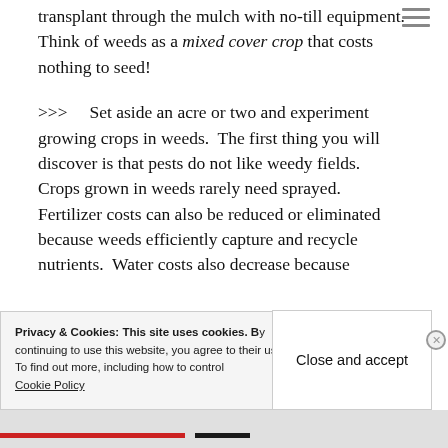transplant through the mulch with no-till equipment.  Think of weeds as a mixed cover crop that costs nothing to seed!
>>>    Set aside an acre or two and experiment growing crops in weeds.  The first thing you will discover is that pests do not like weedy fields.  Crops grown in weeds rarely need sprayed.  Fertilizer costs can also be reduced or eliminated because weeds efficiently capture and recycle nutrients.  Water costs also decrease because
Privacy & Cookies: This site uses cookies. By continuing to use this website, you agree to their use.
To find out more, including how to control cookies, see here:
Cookie Policy
Close and accept